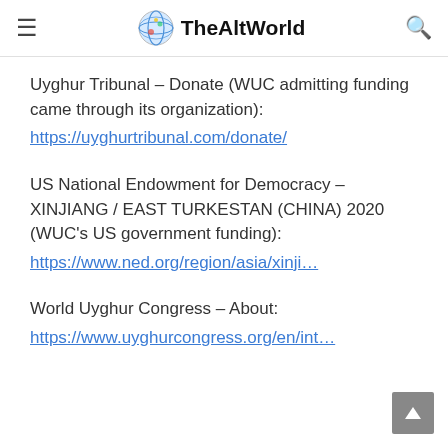TheAltWorld
Uyghur Tribunal – Donate (WUC admitting funding came through its organization): https://uyghurtribunal.com/donate/
US National Endowment for Democracy – XINJIANG / EAST TURKESTAN (CHINA) 2020 (WUC's US government funding): https://www.ned.org/region/asia/xinji…
World Uyghur Congress – About: https://www.uyghurcongress.org/en/int…